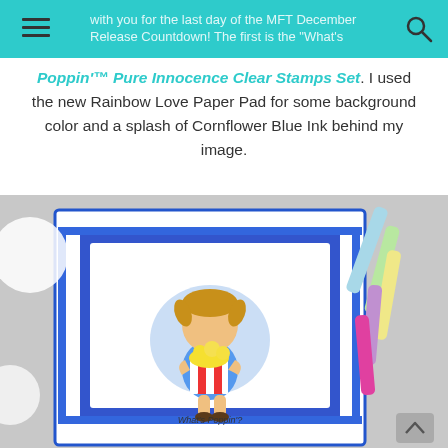with you for the last day of the MFT December Release Countdown! The first is the 'What's
Poppin'™ Pure Innocence Clear Stamps Set. I used the new Rainbow Love Paper Pad for some background color and a splash of Cornflower Blue Ink behind my image.
[Figure (photo): A handmade greeting card featuring a cute illustrated girl holding a large popcorn bucket, surrounded by colorful rainbow semicircle patterned paper borders and a blue mat. The card reads 'What's Poppin'?' at the bottom. Copic markers are visible in the background to the right.]